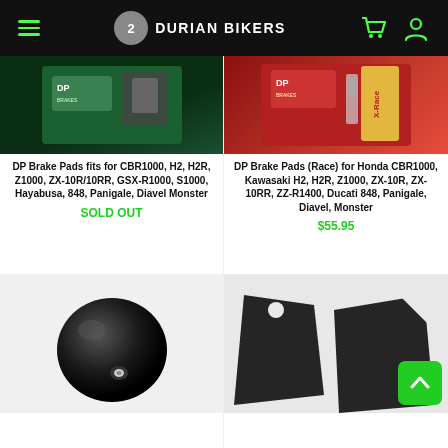Durian Bikers
[Figure (photo): DP Brake Pads on green packaging card - product photo]
DP Brake Pads fits for CBR1000, H2, H2R, Z1000, ZX-10R/10RR, GSX-R1000, S1000, Hayabusa, 848, Panigale, Diavel Monster
SOLD OUT
[Figure (photo): DP Brake Pads Race on red packaging with X-Race branding - product photo]
DP Brake Pads (Race) for Honda CBR1000, Kawasaki H2, H2R, Z1000, ZX-10R, ZX-10RR, ZZ-R1400, Ducati 848, Panigale, Diavel, Monster
$55.95
[Figure (photo): Black motorcycle bar end slider/bobbin - round black aluminum product on white background]
[Figure (photo): Black grip tape / tank grip pads - textured black foam pieces on white background]